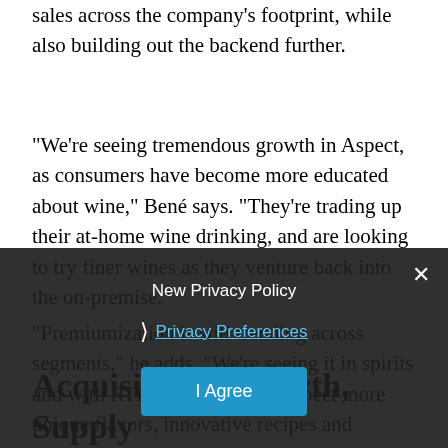sales across the company's footprint, while also building out the backend further.
“We’re seeing tremendous growth in Aspect, as consumers have become more educated about wine,” Bené says. “They’re trading up their at-home wine drinking, and are looking to try finer wines as they venture back into the on-premise.”
“Premiumization is still trending across segments,” he adds. “We’re seeing it in spirits and with RTDs as consumers expect more unique flavors, innovative recipes and emerging ingredients in these products. Online shopping trends are driving growth too, which is why we’ve invested so heavily in ecommerce.”
Acquisitions, Growth, Supply
New Privacy Policy
Privacy Preferences
I Agree